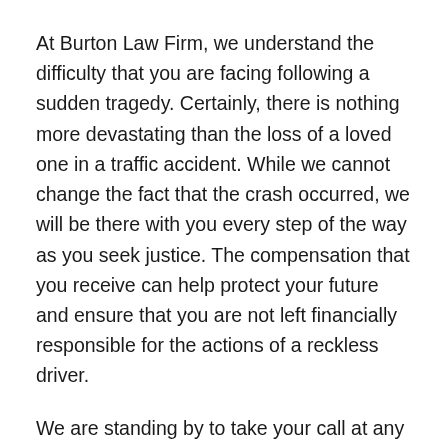At Burton Law Firm, we understand the difficulty that you are facing following a sudden tragedy. Certainly, there is nothing more devastating than the loss of a loved one in a traffic accident. While we cannot change the fact that the crash occurred, we will be there with you every step of the way as you seek justice. The compensation that you receive can help protect your future and ensure that you are not left financially responsible for the actions of a reckless driver.
We are standing by to take your call at any time. Our firm provides a free consultation for all potential clients and we handle most accident cases on a contingency fee basis so you will not owe us an attorney fee until we obtain a recovery on your behalf. We will also...